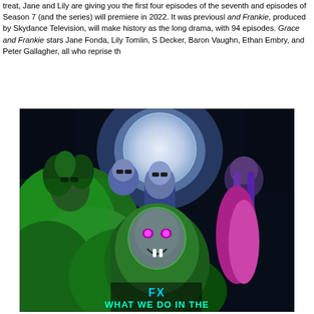treat, Jane and Lily are giving you the first four episodes of the seventh and episodes of Season 7 (and the series) will premiere in 2022. It was previousl and Frankie, produced by Skydance Television, will make history as the long drama, with 94 episodes. Grace and Frankie stars Jane Fonda, Lily Tomlin, S Decker, Baron Vaughn, Ethan Embry, and Peter Gallagher, all who reprise th
[Figure (photo): Promotional poster for FX show 'What We Do in the Shadows' featuring five characters in neon green and purple lighting against a night sky with a large moon. Characters include a woman with wild hair and sunglasses, a bald man, two men in suits with sunglasses, and a werewolf-like creature in the foreground. Text at bottom reads 'FX WHAT WE DO IN THE']